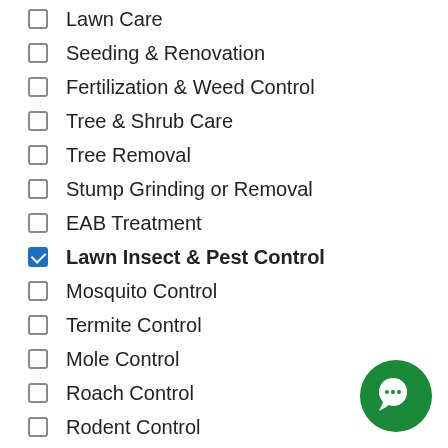Lawn Care
Seeding & Renovation
Fertilization & Weed Control
Tree & Shrub Care
Tree Removal
Stump Grinding or Removal
EAB Treatment
Lawn Insect & Pest Control
Mosquito Control
Termite Control
Mole Control
Roach Control
Rodent Control
Excavation
Land Clearing
Lawn Drainage
Athletic Field Construction
Athletic Field Maintenance
[Figure (illustration): Green circular chat/support button with speech bubble icon]